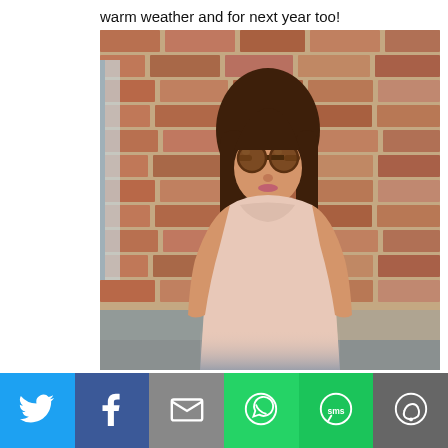warm weather and for next year too!
[Figure (photo): A woman with long brown hair wearing large round tortoiseshell sunglasses and a light pink sleeveless top with a gold chain necklace, standing against a brick wall outdoors.]
[Figure (infographic): Social media share bar with icons for Twitter, Facebook, Email, WhatsApp, SMS, and More options.]